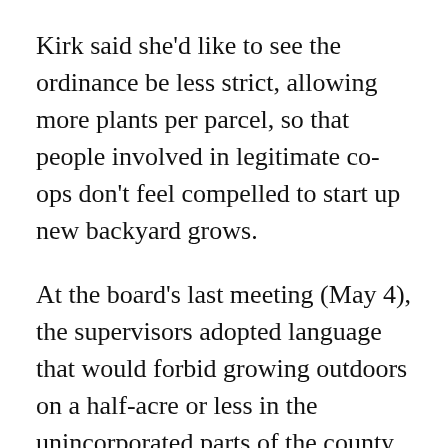Kirk said she'd like to see the ordinance be less strict, allowing more plants per parcel, so that people involved in legitimate co-ops don't feel compelled to start up new backyard grows.
At the board's last meeting (May 4), the supervisors adopted language that would forbid growing outdoors on a half-acre or less in the unincorporated parts of the county. Properties greater than a half-acre would be allowed six mature marijuana plants; those bigger